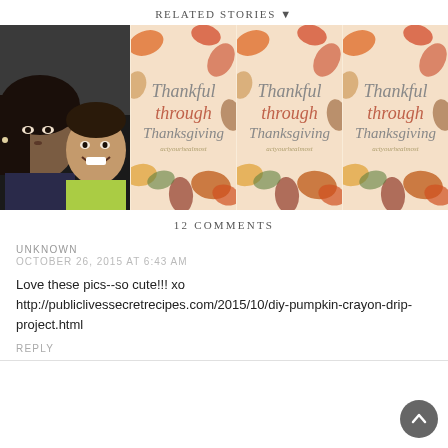RELATED STORIES ▼
[Figure (photo): Two people (woman and child) selfie photo on the left; three repeated panels of a Thankful through Thanksgiving autumn-themed graphic with fall leaves on peach/cream background]
12 COMMENTS
UNKNOWN
OCTOBER 26, 2015 AT 6:43 AM
Love these pics--so cute!!! xo http://publiclivessecretrecipes.com/2015/10/diy-pumpkin-crayon-drip-project.html
REPLY